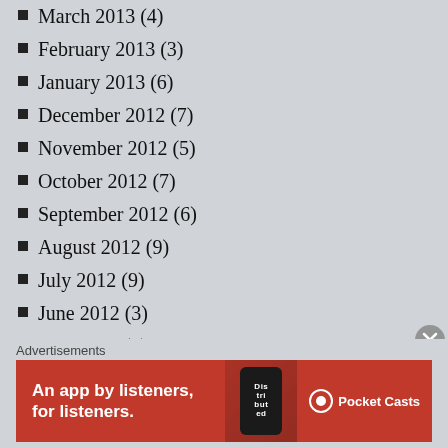March 2013 (4)
February 2013 (3)
January 2013 (6)
December 2012 (7)
November 2012 (5)
October 2012 (7)
September 2012 (6)
August 2012 (9)
July 2012 (9)
June 2012 (3)
June 2011 (2)
May 2011 (1)
November 2010 (1)
March 2010 (1)
February 2010 (1)
November 2009 (1)
July 2009 (1)
November 2008 (1)
Advertisements
[Figure (infographic): Pocket Casts advertisement banner: red background with text 'An app by listeners, for listeners.' and Pocket Casts logo with phone image showing 'Distributed' text]